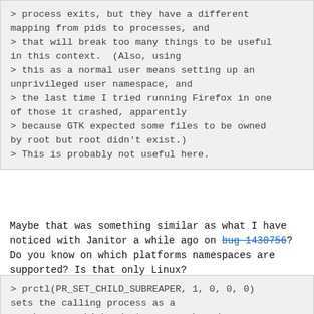> process exits, but they have a different mapping from pids to processes, and > that will break too many things to be useful in this context.  (Also, using > this as a normal user means setting up an unprivileged user namespace, and > the last time I tried running Firefox in one of those it crashed, apparently > because GTK expected some files to be owned by root but root didn't exist.) > This is probably not useful here.
Maybe that was something similar as what I have noticed with Janitor a while ago on bug 1430756? Do you know on which platforms namespaces are supported? Is that only Linux?
> prctl(PR_SET_CHILD_SUBREAPER, 1, 0, 0, 0) sets the calling process as a > subreaper which adopts any orphaned